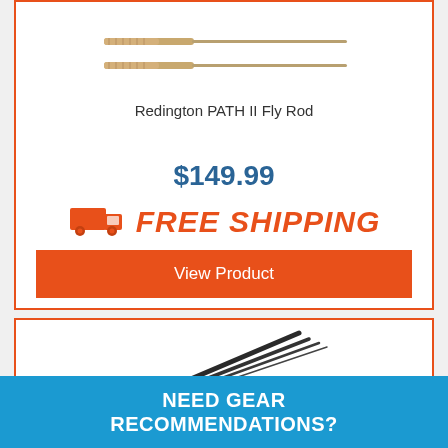[Figure (photo): Redington PATH II Fly Rod product image showing two tan/cork fly fishing rod sections]
Redington PATH II Fly Rod
$149.99
[Figure (illustration): Orange delivery truck icon for free shipping]
FREE SHIPPING
View Product
[Figure (photo): Dark graphite fly fishing rod with multiple sections fanned out]
NEED GEAR RECOMMENDATIONS?